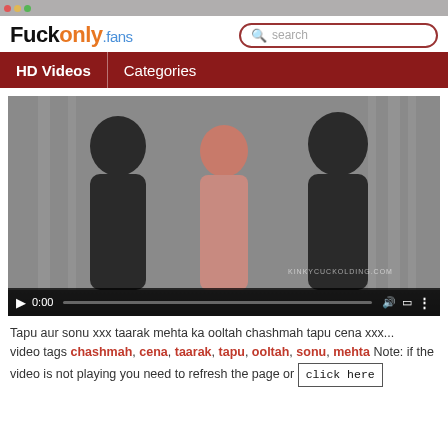Fuckonly.fans
[Figure (screenshot): Video player showing paused video at 0:00 with controls bar]
Tapu aur sonu xxx taarak mehta ka ooltah chashmah tapu cena xxx... video tags chashmah, cena, taarak, tapu, ooltah, sonu, mehta Note: if the video is not playing you need to refresh the page or click here